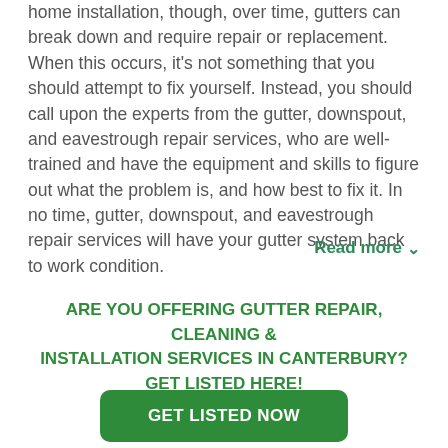home installation, though, over time, gutters can break down and require repair or replacement. When this occurs, it's not something that you should attempt to fix yourself. Instead, you should call upon the experts from the gutter, downspout, and eavestrough repair services, who are well-trained and have the equipment and skills to figure out what the problem is, and how best to fix it. In no time, gutter, downspout, and eavestrough repair services will have your gutter system back to work condition.
Read more ∨
ARE YOU OFFERING GUTTER REPAIR, CLEANING & INSTALLATION SERVICES IN CANTERBURY? GET LISTED HERE!
GET LISTED NOW